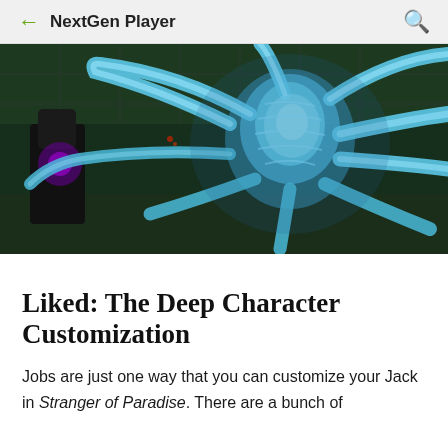NextGen Player
[Figure (photo): Screenshot from Stranger of Paradise video game showing a glowing blue tentacled creature/boss with multiple appendages in a dark green industrial environment, with a dark armored character visible on the left.]
Liked: The Deep Character Customization
Jobs are just one way that you can customize your Jack in Stranger of Paradise. There are a bunch of